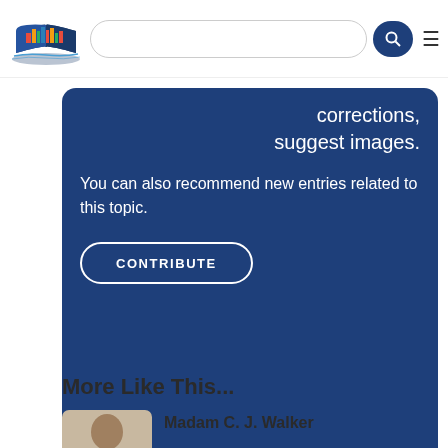[Figure (logo): Website logo with city skyline and open book icon]
corrections, suggest images.
You can also recommend new entries related to this topic.
CONTRIBUTE
More Like This...
Madam C. J. Walker